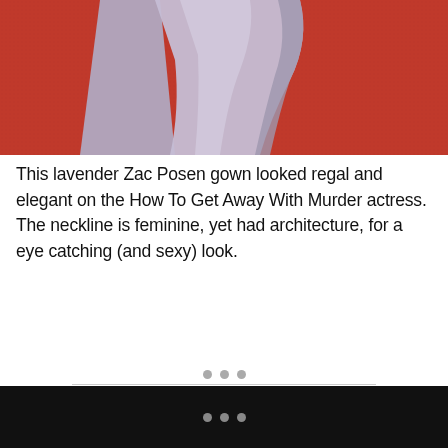[Figure (photo): Partial view of a lavender gown fabric on a red carpet background, showing flowing fabric/train of the dress]
This lavender Zac Posen gown looked regal and elegant on the How To Get Away With Murder actress. The neckline is feminine, yet had architecture, for a eye catching (and sexy) look.